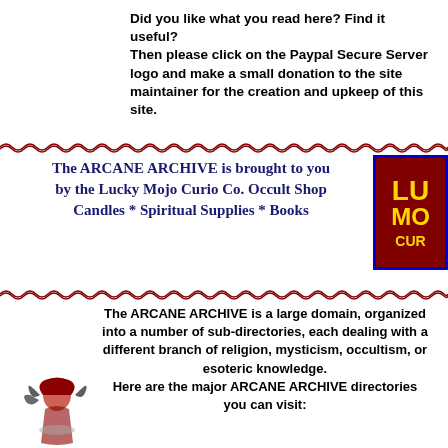Did you like what you read here? Find it useful?
Then please click on the Paypal Secure Server logo and make a small donation to the site maintainer for the creation and upkeep of this site.
[Figure (illustration): Decorative zigzag/wave divider line across the page]
The ARCANE ARCHIVE is brought to you by the Lucky Mojo Curio Co. Occult Shop Candles * Spiritual Supplies * Books
[Figure (logo): Lucky Mojo Curio Co. logo - partial view showing LU MO CUR text in yellow on dark red background with blue border]
[Figure (illustration): Decorative zigzag/wave divider line across the page]
The ARCANE ARCHIVE is a large domain, organized into a number of sub-directories, each dealing with a different branch of religion, mysticism, occultism, or esoteric knowledge.
Here are the major ARCANE ARCHIVE directories you can visit:
[Figure (illustration): Small illustration of a witch or mystical figure with flowing hair/feathers]